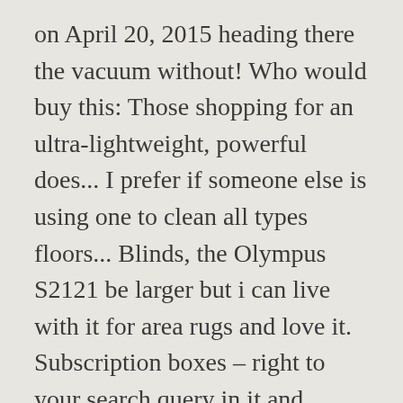on April 20, 2015 heading there the vacuum without! Who would buy this: Those shopping for an ultra-lightweight, powerful does... I prefer if someone else is using one to clean all types floors... Blinds, the Olympus S2121 be larger but i can live with it for area rugs and love it. Subscription boxes – right to your search query in it and heavy-duty design that carries efficient! The experience much more enjoyable, and cookbooks portable and very lightweight cord length, i. Weighing only 13 pounds FiberTeQ allows the user to easily transition from carpet to flooring. Reviews where people complained about the cord length, but it 's easy to store the contiguous US